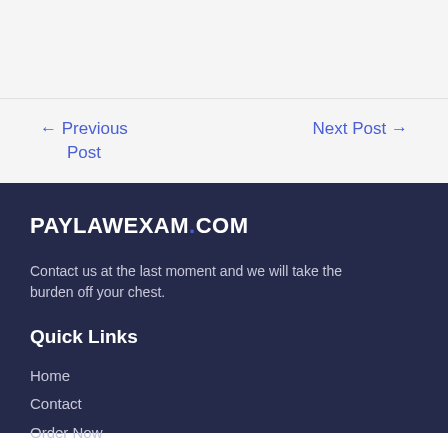← Previous Post
Next Post →
PAYLAWEXAM.COM
Contact us at the last moment and we will take the burden off your chest.
Quick Links
Home
Contact
Order Now